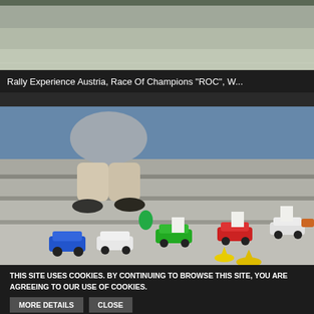[Figure (photo): Partial view of a rally or race event outdoor area, grey pavement/track, bottom portion of image]
Rally Experience Austria, Race Of Champions "ROC", W...
[Figure (photo): People sitting on concrete steps with RC (radio-controlled) rally cars displayed on the steps in front of them. Cars include blue, white, green, red, and white/grey models. Yellow cones visible on the ground.]
THIS SITE USES COOKIES. BY CONTINUING TO BROWSE THIS SITE, YOU ARE AGREEING TO OUR USE OF COOKIES.
MORE DETAILS
CLOSE